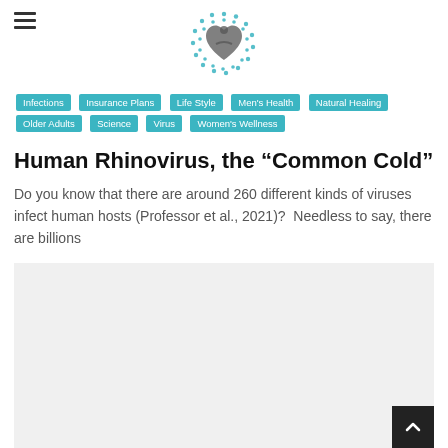Navigation header with hamburger menu and site logo
Infections
Insurance Plans
Life Style
Men's Health
Natural Healing
Older Adults
Science
Virus
Women's Wellness
Human Rhinovirus, the “Common Cold”
Do you know that there are around 260 different kinds of viruses infect human hosts (Professor et al., 2021)?  Needless to say, there are billions
[Figure (photo): Light gray placeholder image area for article content]